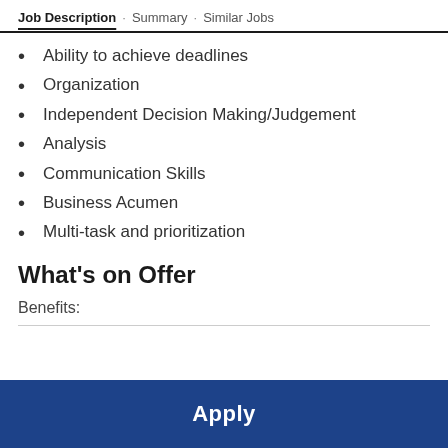Job Description · Summary · Similar Jobs
Ability to achieve deadlines
Organization
Independent Decision Making/Judgement
Analysis
Communication Skills
Business Acumen
Multi-task and prioritization
What's on Offer
Benefits: